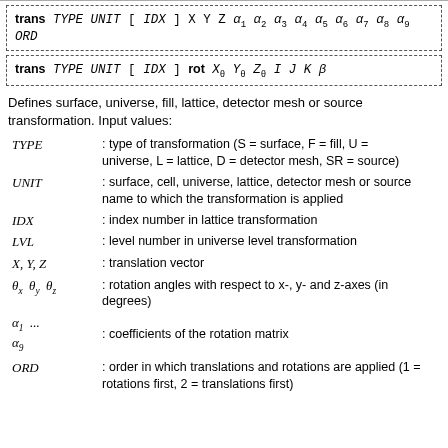Defines surface, universe, fill, lattice, detector mesh or source transformation. Input values:
TYPE : type of transformation (S = surface, F = fill, U = universe, L = lattice, D = detector mesh, SR = source)
UNIT : surface, cell, universe, lattice, detector mesh or source name to which the transformation is applied
IDX : index number in lattice transformation
LVL : level number in universe level transformation
X, Y, Z : translation vector
θ_x θ_y θ_z : rotation angles with respect to x-, y- and z-axes (in degrees)
α_1 ... α_9 : coefficients of the rotation matrix
ORD : order in which translations and rotations are applied (1 = rotations first, 2 = translations first)